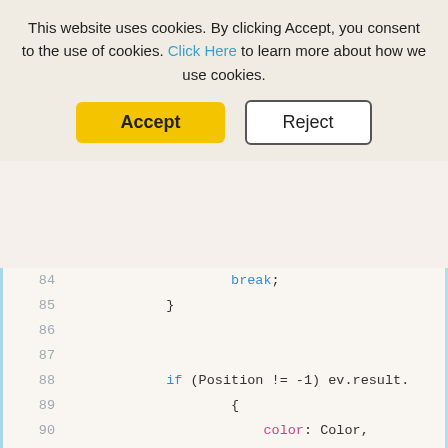This website uses cookies. By clicking Accept, you consent to the use of cookies. Click Here to learn more about how we use cookies.
Accept
Reject
[Figure (screenshot): Code editor showing JavaScript/JSON code lines 84-99 with syntax highlighting. Blue keywords (if, break), pink property names (color, width, dashStyle, value, label, text, rotation, textAlign, style), green string values ("dash", "center"), default text (Color, 2, Position, Text, 0, {fontFamily:), and gray line numbers.]